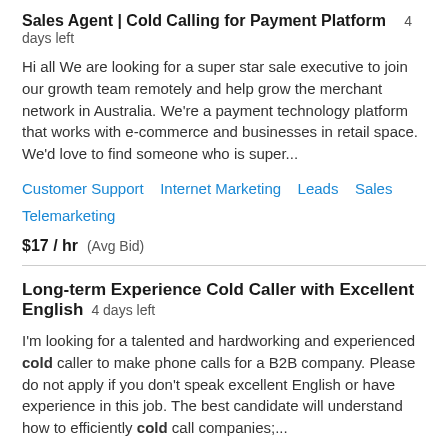Sales Agent | Cold Calling for Payment Platform  4 days left
Hi all We are looking for a super star sale executive to join our growth team remotely and help grow the merchant network in Australia. We're a payment technology platform that works with e-commerce and businesses in retail space. We'd love to find someone who is super...
Customer Support   Internet Marketing   Leads   Sales   Telemarketing
$17 / hr  (Avg Bid)
Long-term Experience Cold Caller with Excellent English  4 days left
I'm looking for a talented and hardworking and experienced cold caller to make phone calls for a B2B company. Please do not apply if you don't speak excellent English or have experience in this job. The best candidate will understand how to efficiently cold call companies;...